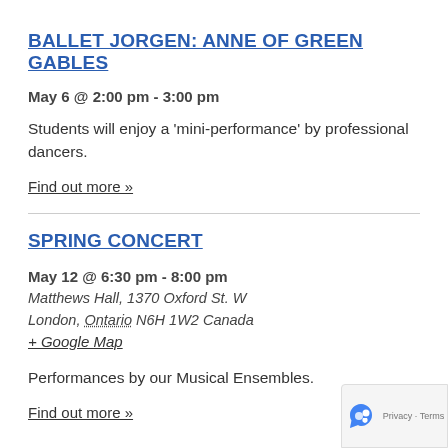BALLET JORGEN: ANNE OF GREEN GABLES
May 6 @ 2:00 pm - 3:00 pm
Students will enjoy a 'mini-performance' by professional dancers.
Find out more »
SPRING CONCERT
May 12 @ 6:30 pm - 8:00 pm
Matthews Hall, 1370 Oxford St. W
London, Ontario N6H 1W2 Canada
+ Google Map
Performances by our Musical Ensembles.
Find out more »